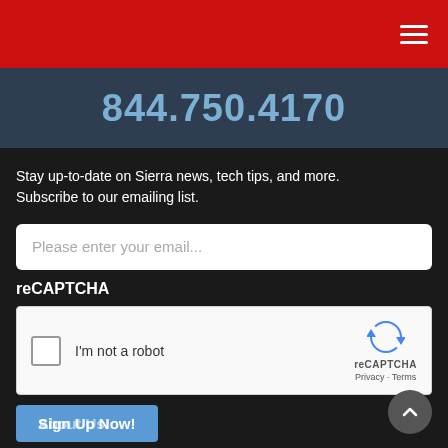Navigation menu (hamburger icon)
844.750.4170
Stay up-to-date on Sierra news, tech tips, and more. Subscribe to our emailing list.
Please enter your email...
reCAPTCHA
[Figure (screenshot): reCAPTCHA widget with checkbox labeled 'I'm not a robot' and reCAPTCHA logo with Privacy - Terms links]
About Us! / Sign Up Now!
Sierra Experts is an IT managed service and support provider headquartered in Pittsburgh, PA. Sierra's executive team, engineers and support staff have many years of experience in the IT industry, offering